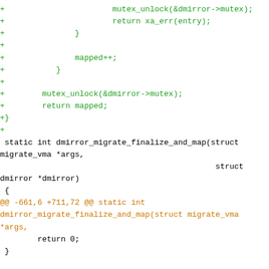[Figure (screenshot): A code diff snippet showing C source code with green lines for additions and orange lines for diff hunk headers. Content includes mutex_unlock, return statements, mapped++, and dmirror_migrate_finalize_and_map and dmirror_exclusive function definitions.]